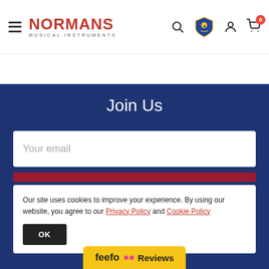Normans Musical Instruments - navigation header
Join Us
Your email
Our site uses cookies to improve your experience. By using our website, you agree to our Privacy Policy and Cookie Policy
OK
[Figure (logo): Feefo Reviews badge - yellow background with feefo logo and Reviews text]